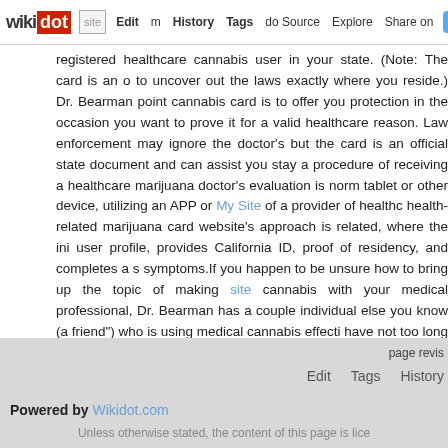wikidot | site | Edit | History | Tags | Source | Explore | Share on Twitter
registered healthcare cannabis user in your state. (Note: The card is an option to uncover out the laws exactly where you reside.) Dr. Bearman points out cannabis card is to offer you protection in the occasion you want to prove it for a valid healthcare reason. Law enforcement may ignore the doctor's but the card is an official state document and can assist you stay a procedure of receiving a healthcare marijuana doctor's evaluation is normally tablet or other device, utilizing an APP or My Site of a provider of health-related marijuana card website's approach is related, where the initial user profile, provides California ID, proof of residency, and completes a symptoms.If you happen to be unsure how to bring up the topic of making site cannabis with your medical professional, Dr. Bearman has a couple individual else you know (a friend") who is using medical cannabis effectively have not too long ago study or a documentary or news show you have discovered on the World wide web. Any of these tactics can kick off a conversation
Comments: 0
Add a New Comment
page revis
Edit   Tags   History
Powered by Wikidot.com
Unless otherwise stated, the content of this page is lice